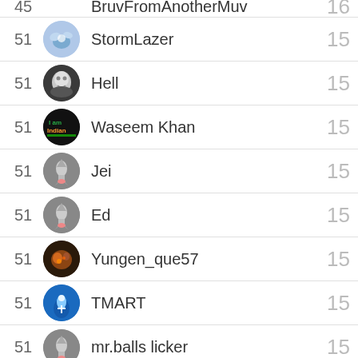| Rank | Avatar | Username | Score |
| --- | --- | --- | --- |
| 45 |  | BruvFromAnotherMuv | 16 |
| 51 |  | StormLazer | 15 |
| 51 |  | Hell | 15 |
| 51 |  | Waseem Khan | 15 |
| 51 |  | Jei | 15 |
| 51 |  | Ed | 15 |
| 51 |  | Yungen_que57 | 15 |
| 51 |  | TMART | 15 |
| 51 |  | mr.balls licker | 15 |